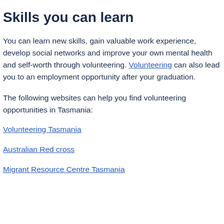Skills you can learn
You can learn new skills, gain valuable work experience, develop social networks and improve your own mental health and self-worth through volunteering. Volunteering can also lead you to an employment opportunity after your graduation.
The following websites can help you find volunteering opportunities in Tasmania:
Volunteering Tasmania
Australian Red cross
Migrant Resource Centre Tasmania